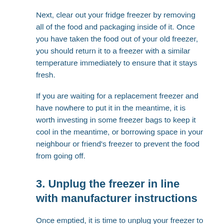Next, clear out your fridge freezer by removing all of the food and packaging inside of it. Once you have taken the food out of your old freezer, you should return it to a freezer with a similar temperature immediately to ensure that it stays fresh.
If you are waiting for a replacement freezer and have nowhere to put it in the meantime, it is worth investing in some freezer bags to keep it cool in the meantime, or borrowing space in your neighbour or friend's freezer to prevent the food from going off.
3. Unplug the freezer in line with manufacturer instructions
Once emptied, it is time to unplug your freezer to defrost it, in line with the instructions provided by the appliance's manufacturer. Once you have unplugged